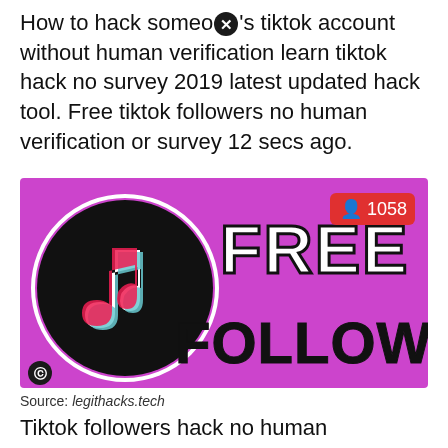How to hack someoⓧ's tiktok account without human verification learn tiktok hack no survey 2019 latest updated hack tool. Free tiktok followers no human verification or survey 12 secs ago.
[Figure (illustration): Promotional image with purple background showing TikTok logo (black circle with musical note), text 'FREE FOLLOWERS' in large bold black and white letters, and a red notification badge showing '1058' followers icon in top right corner.]
Source: legithacks.tech
Tiktok followers hack no human verification. Tiktok followers generator 2020 no.
[Figure (illustration): Gray advertisement banner with a black circle X (close) button in the center.]